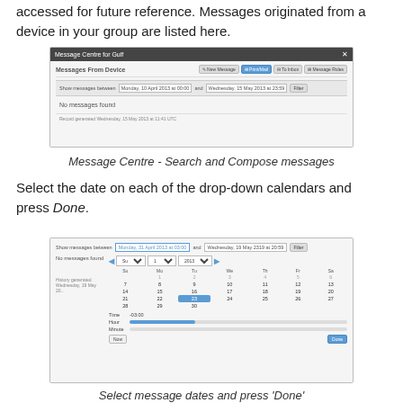accessed for future reference. Messages originated from a device in your group are listed here.
[Figure (screenshot): Message Centre for Gulf - Messages From Device interface showing filter bar with date range and no messages found]
Message Centre - Search and Compose messages
Select the date on each of the drop-down calendars and press Done.
[Figure (screenshot): Message Centre date picker with calendar dropdown showing month view and time selection with Done button]
Select message dates and press 'Done'